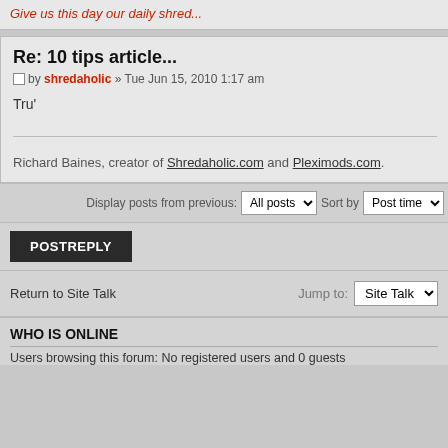Give us this day our daily shred...
Re: 10 tips article...
by shredaholic » Tue Jun 15, 2010 1:17 am
Tru'
Richard Baines, creator of Shredaholic.com and Pleximods.com.
Display posts from previous: All posts  Sort by Post time
POSTREPLY
Return to Site Talk
Jump to: Site Talk
WHO IS ONLINE
Users browsing this forum: No registered users and 0 guests